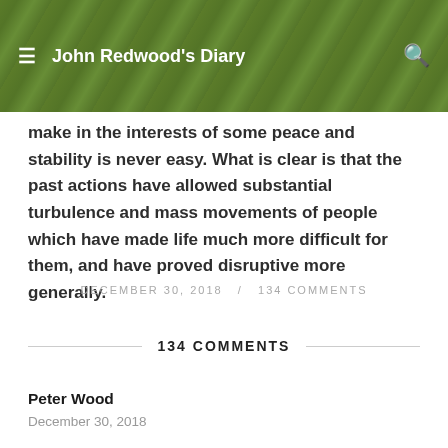John Redwood's Diary
make in the interests of some peace and stability is never easy. What is clear is that the past actions have allowed substantial turbulence and mass movements of people which have made life much more difficult for them, and have proved disruptive more generally.
DECEMBER 30, 2018 / 134 COMMENTS
134 COMMENTS
Peter Wood
December 30, 2018